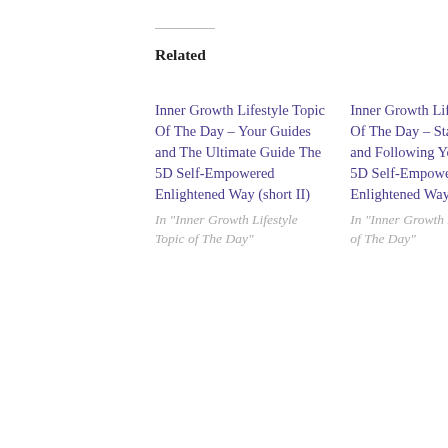Related
Inner Growth Lifestyle Topic Of The Day – Your Guides and The Ultimate Guide The 5D Self-Empowered Enlightened Way (short II)
In "Inner Growth Lifestyle Topic of The Day"
Inner Growth Lifestyle Topic Of The Day – Staying Open and Following Your Gut The 5D Self-Empowered Enlightened Way (short II)
In "Inner Growth Lifestyle Topic of The Day"
Inner Growth Lifestyle
Privacy & Cookies: This site uses cookies. By continuing to use this website, you agree to their use.
To find out more, including how to control cookies, see here: Our Cookie Policy
Close and accept
I)